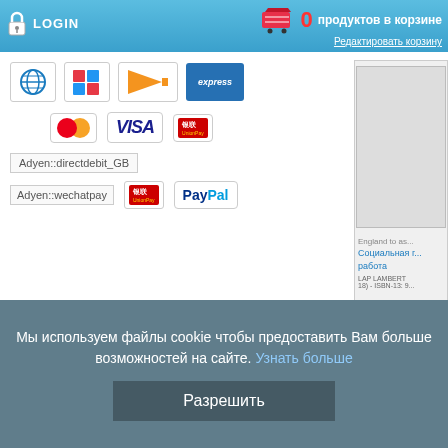LOGIN | 0 продуктов в корзине | Редактировать корзину
[Figure (screenshot): Payment method logos: PayPal, VISA, MasterCard, UnionPay, American Express, Adyen directdebit_GB, Adyen wechatpay]
[Figure (screenshot): Book product card: Социальная г... работа, LAP LAMBERT, ISBN-13: 9...]
Child porno
Child sexual a... related laws
Уголовное пра... процессуальн...
FastBook Publis... 978-613-0-1527...
Мы используем файлы cookie чтобы предоставить Вам больше возможностей на сайте. Узнать больше
Разрешить